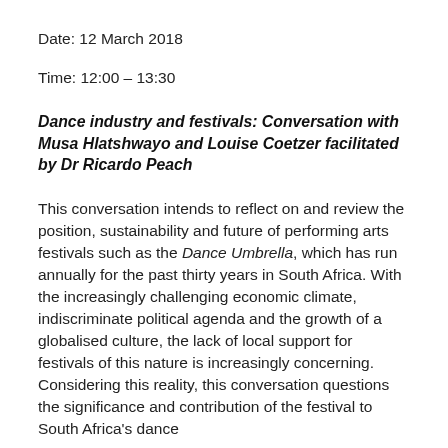Date: 12 March 2018
Time: 12:00 – 13:30
Dance industry and festivals: Conversation with Musa Hlatshwayo and Louise Coetzer facilitated by Dr Ricardo Peach
This conversation intends to reflect on and review the position, sustainability and future of performing arts festivals such as the Dance Umbrella, which has run annually for the past thirty years in South Africa. With the increasingly challenging economic climate, indiscriminate political agenda and the growth of a globalised culture, the lack of local support for festivals of this nature is increasingly concerning. Considering this reality, this conversation questions the significance and contribution of the festival to South Africa's dance